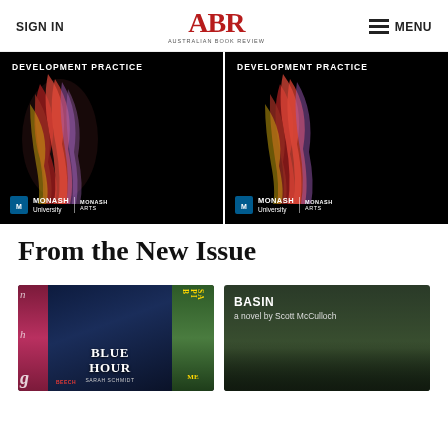SIGN IN | ABR Australian Book Review | MENU
[Figure (photo): Banner advertisement showing two identical book/publication covers for 'Development Practice' with colorful feather imagery on black background, with Monash University and Monash Arts logos at bottom.]
From the New Issue
[Figure (photo): Book covers collage showing Blue Hour by Sarah Schmidt and partially visible book covers including one with 'SAPIENS' text and BEECH label.]
[Figure (photo): Book cover for 'BASIN a novel by Scott McCulloch' with dark green forest background and a figure in a hat.]